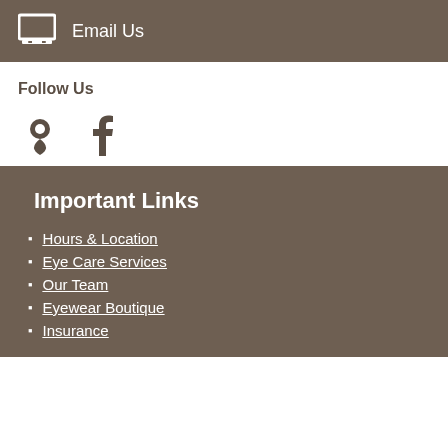Email Us
Follow Us
[Figure (infographic): Map pin icon and Facebook icon for social/location links]
Important Links
Hours & Location
Eye Care Services
Our Team
Eyewear Boutique
Insurance